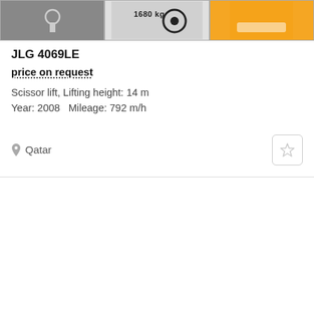[Figure (photo): Three thumbnail images of a scissor lift / JLG 4069LE machine. Left: gray image with hook/chain detail. Middle: label showing '1680 kg' with circular indicator. Right: orange-colored machine part.]
JLG 4069LE
price on request
Scissor lift, Lifting height: 14 m
Year: 2008   Mileage: 792 m/h
Qatar